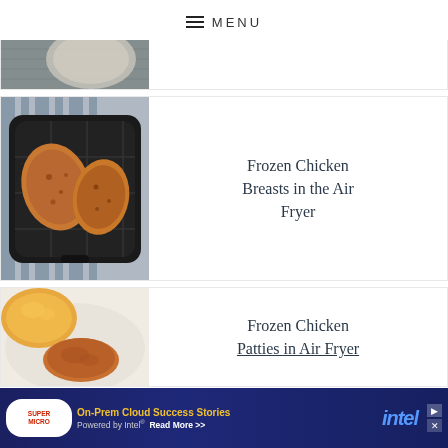MENU
[Figure (photo): Partial view of a food photo at the top of the page]
Frozen Chicken Breasts in the Air Fryer
[Figure (photo): Air fryer basket with two cooked frozen chicken breasts, seasoned and browned]
Frozen Chicken Patties in Air Fryer
[Figure (photo): Partial view of frozen chicken patties on a plate with a bun]
[Figure (screenshot): Advertisement banner: Supermicro On-Prem Cloud Success Stories Powered by Intel Read More, with intel logo]